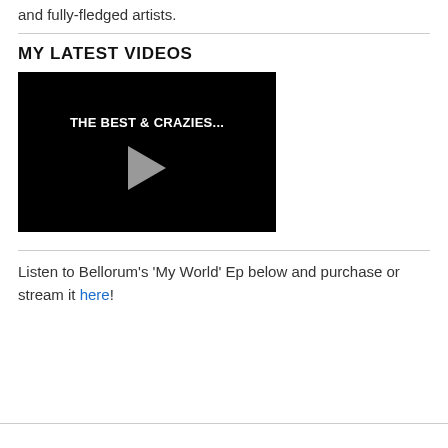and fully-fledged artists.
MY LATEST VIDEOS
[Figure (screenshot): Black video thumbnail with white text reading 'THE BEST & CRAZIES...' and a grey play button triangle in the center]
Listen to Bellorum’s ‘My World’ Ep below and purchase or stream it here!